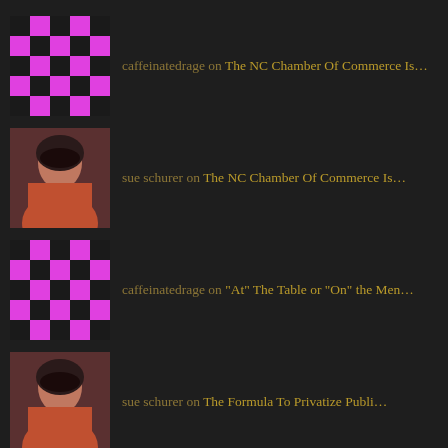caffeinatedrage on The NC Chamber Of Commerce Is...
sue schurer on The NC Chamber Of Commerce Is...
caffeinatedrage on “At” The Table or “On” the Men...
sue schurer on The Formula To Privatize Publi...
sue schurer on “At” The Table or “On” the Men...
ARCHIVES
August 2022